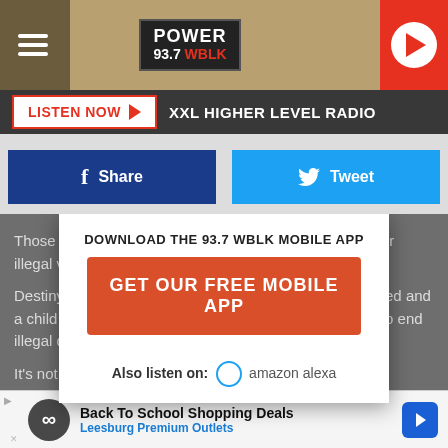[Figure (screenshot): Power 93.7 WBLK radio station header with hamburger menu, logo, and red play button]
LISTEN NOW   XXL HIGHER LEVEL RADIO
[Figure (screenshot): Facebook Share button and Twitter Tweet button]
Those caught will be slapped with a $2,500 fine and their illegal vehicle taken away by police.
DOWNLOAD THE 93.7 WBLK MOBILE APP
GET OUR FREE MOBILE APP
Destiny and others are hoping the story of Kirk being killed and a child almost being hurt will be enough to turn the tide to end illegal dirt bikes and ATV's on our streets.
Also listen on:  amazon alexa
It's not d... definitely qualifies.
[Figure (screenshot): Back To School Shopping Deals - Leesburg Premium Outlets advertisement banner]